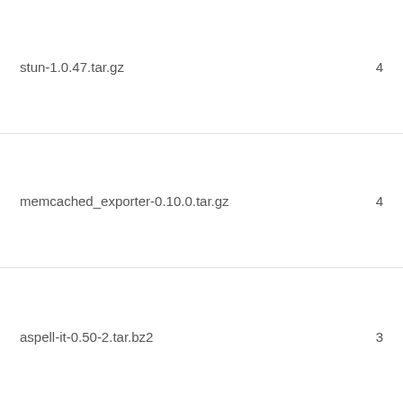stun-1.0.47.tar.gz    4
memcached_exporter-0.10.0.tar.gz    4
aspell-it-0.50-2.tar.bz2    3